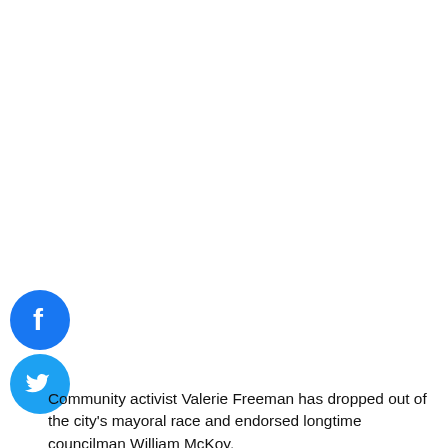[Figure (illustration): Facebook share icon (blue circle with white 'f' logo)]
[Figure (illustration): Twitter share icon (blue circle with white bird logo)]
Community activist Valerie Freeman has dropped out of the city's mayoral race and endorsed longtime councilman William McKoy.
Freeman put her support behind McKoy at the councilman's campaign headquarter opening event on Saturday afternoon.
“It is with a heavy heart that I have decided not to run for mayor of this great city,” said Freeman (left) while endorsing McKoy. “When you look at the remaining mayoral candidates